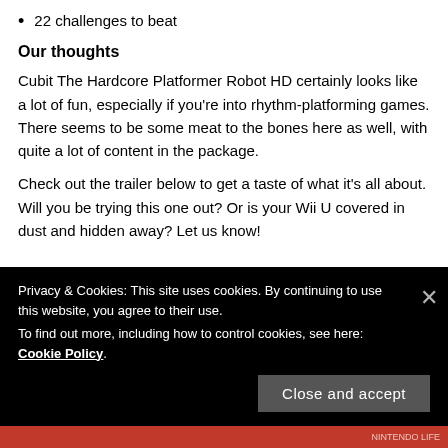22 challenges to beat
Our thoughts
Cubit The Hardcore Platformer Robot HD certainly looks like a lot of fun, especially if you’re into rhythm-platforming games. There seems to be some meat to the bones here as well, with quite a lot of content in the package.
Check out the trailer below to get a taste of what it’s all about. Will you be trying this one out? Or is your Wii U covered in dust and hidden away? Let us know!
Privacy & Cookies: This site uses cookies. By continuing to use this website, you agree to their use.
To find out more, including how to control cookies, see here: Cookie Policy